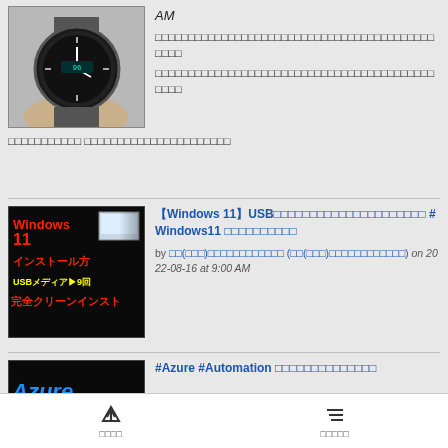[Figure (photo): Photo of a smartwatch on a wrist, showing analog-style display]
AM
[Japanese text body continued from previous article about smartwatch/AM topic]
[Figure (screenshot): Thumbnail for Windows 11 USB install video — black background with red Japanese text 'Windows11 インストール方', 'USBメディア', '完全クリーン インスト' in yellow and red, small screenshot inset]
【Windows 11】USB起動ドライブを作り方・インストール方法 #Windows11 インストールUSBメディア
by 紹介(技術系)ブログ・人生あれこれ (紹介(技術系)ブログ・人生あれこれ) on 2022-08-16 at 9:00 AM
[Figure (screenshot): Thumbnail for Azure Automation video — black background with blue italic 'Azure' text and red Japanese subtitle]
#Azure #Automation でできること・できないこと